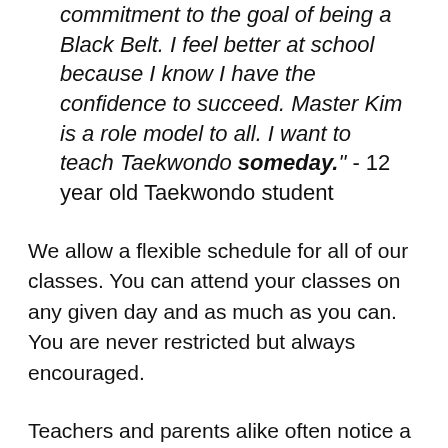commitment to the goal of being a Black Belt. I feel better at school because I know I have the confidence to succeed. Master Kim is a role model to all. I want to teach Taekwondo someday." - 12 year old Taekwondo student
We allow a flexible schedule for all of our classes. You can attend your classes on any given day and as much as you can. You are never restricted but always encouraged.
Teachers and parents alike often notice a positive change Taekwondo makes in the